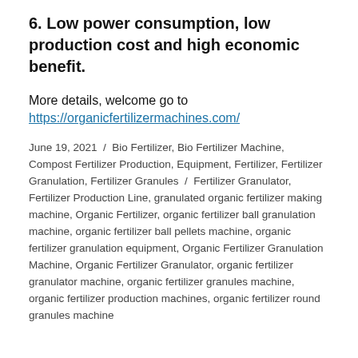6. Low power consumption, low production cost and high economic benefit.
More details, welcome go to https://organicfertilizermachines.com/
June 19, 2021 / Bio Fertilizer, Bio Fertilizer Machine, Compost Fertilizer Production, Equipment, Fertilizer, Fertilizer Granulation, Fertilizer Granules / Fertilizer Granulator, Fertilizer Production Line, granulated organic fertilizer making machine, Organic Fertilizer, organic fertilizer ball granulation machine, organic fertilizer ball pellets machine, organic fertilizer granulation equipment, Organic Fertilizer Granulation Machine, Organic Fertilizer Granulator, organic fertilizer granulator machine, organic fertilizer granules machine, organic fertilizer production machines, organic fertilizer round granules machine